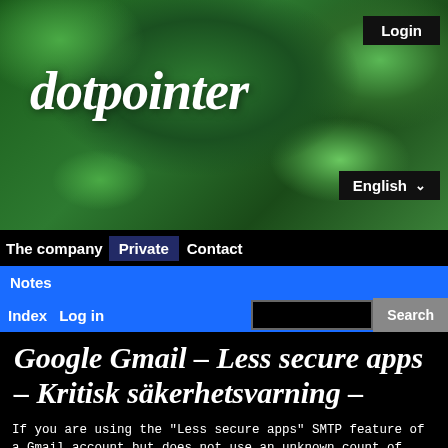[Figure (screenshot): Website header with green leaf background photo, dotpointer logo in italic white text, Login button top right, English language selector bottom right]
Login
dotpointer
English
The company  Private  Contact
Notes
Index  Log in
Google Gmail - Less secure apps - Kritisk säkerhetsvarning - IMAP/POP3/SMTP services
If you are using the "Less secure apps" SMTP feature of a Gmail account but does not use an unknown count of months between the requests then Google will block the request to use it once the program you are using makes an attempt.